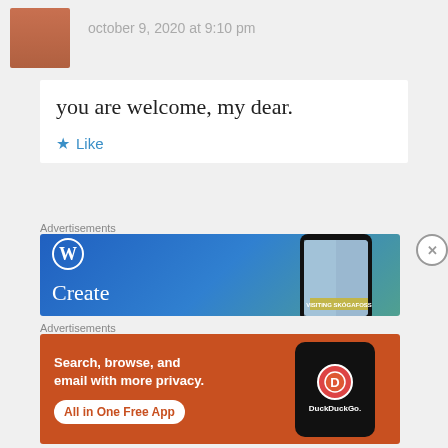october 9, 2020 at 9:10 pm
you are welcome, my dear.
Like
Advertisements
[Figure (photo): WordPress advertisement banner with blue gradient background, WordPress W logo, 'Create' text, and a phone showing 'VISITING SKOGAFOSS']
Advertisements
[Figure (photo): DuckDuckGo advertisement with orange background, text 'Search, browse, and email with more privacy. All in One Free App', and a phone showing DuckDuckGo logo]